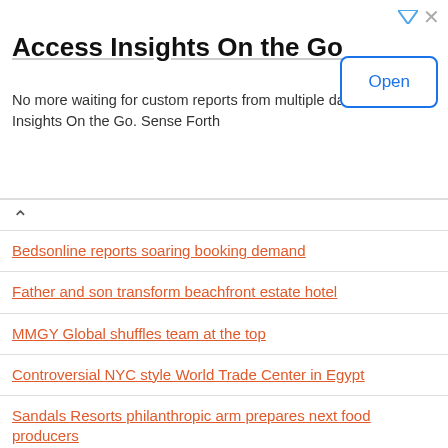[Figure (screenshot): Ad banner for 'Access Insights On the Go' by Sense Forth with an Open button]
Access Insights On the Go
No more waiting for custom reports from multiple dashboards with Insights On the Go. Sense Forth
Bedsonline reports soaring booking demand
Father and son transform beachfront estate hotel
MMGY Global shuffles team at the top
Controversial NYC style World Trade Center in Egypt
Sandals Resorts philanthropic arm prepares next food producers
World's top cities to visit this summer
What to do if airline lost your luggage?